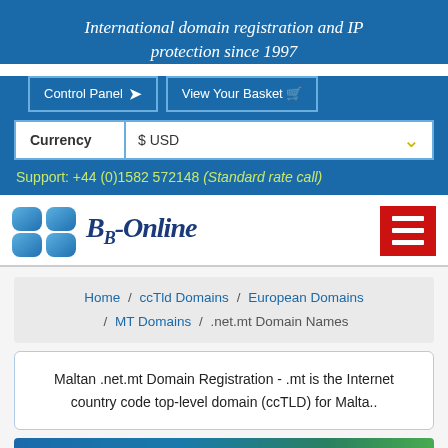International domain registration and IP protection since 1997
Control Panel →
View Your Basket 🛒
Currency  $ USD
Support: +44 (0)1582 572148 (Standard rate call)
[Figure (logo): BB-Online logo with blue stylized double-B icon and cursive text 'BB-Online']
Home / ccTld Domains / European Domains / MT Domains / .net.mt Domain Names
Maltan .net.mt Domain Registration - .mt is the Internet country code top-level domain (ccTLD) for Malta..
[Figure (photo): Blue banner with partial map image at bottom of page]